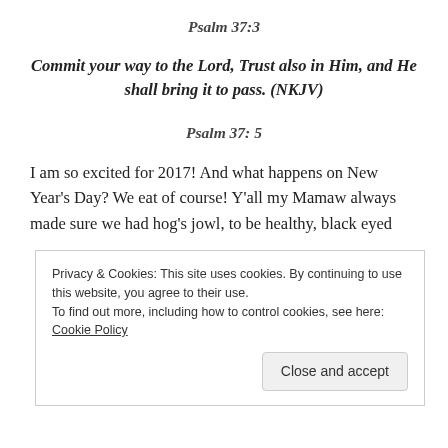Psalm 37:3
Commit your way to the Lord, Trust also in Him, and He shall bring it to pass. (NKJV)
Psalm 37: 5
I am so excited for 2017! And what happens on New Year’s Day? We eat of course! Y’all my Mamaw always made sure we had hog’s jowl, to be healthy, black eyed
Privacy & Cookies: This site uses cookies. By continuing to use this website, you agree to their use.
To find out more, including how to control cookies, see here: Cookie Policy
Close and accept